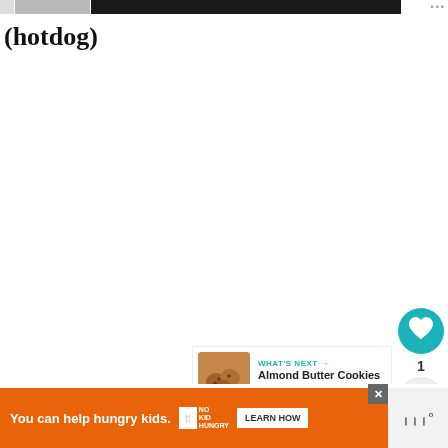(navigation bar area)
(hotdog)
[Figure (infographic): Heart/like button (teal circle with heart icon), count '1', and share button (light circle with share icon)]
[Figure (infographic): WHAT'S NEXT panel with cookie image thumbnail and text 'Almond Butter Cookies – 3...']
[Figure (infographic): Orange advertisement banner: 'You can help hungry kids.' with No Kid Hungry logo and LEARN HOW button, close X button, and brand logo on right]